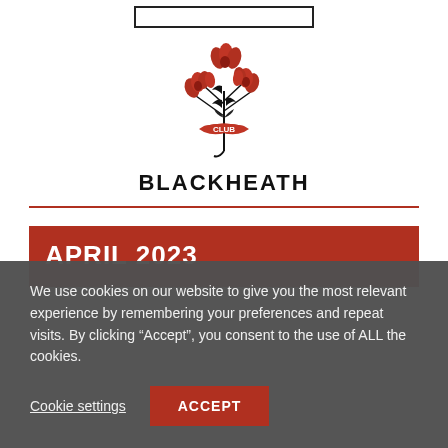[Figure (logo): Blackheath Club logo: red and black floral/botanical illustration with a banner reading CLUB, above the text BLACKHEATH]
BLACKHEATH
APRIL 2023
We use cookies on our website to give you the most relevant experience by remembering your preferences and repeat visits. By clicking “Accept”, you consent to the use of ALL the cookies.
Cookie settings  ACCEPT